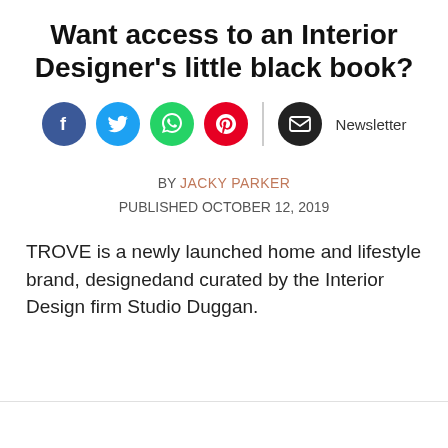Want access to an Interior Designer's little black book?
[Figure (infographic): Social share icons row: Facebook (blue circle), Twitter (light blue circle), WhatsApp (green circle), Pinterest (red circle), divider line, Email newsletter (black circle) with label 'Newsletter']
BY JACKY PARKER
PUBLISHED OCTOBER 12, 2019
TROVE is a newly launched home and lifestyle brand, designedand curated by the Interior Design firm Studio Duggan.